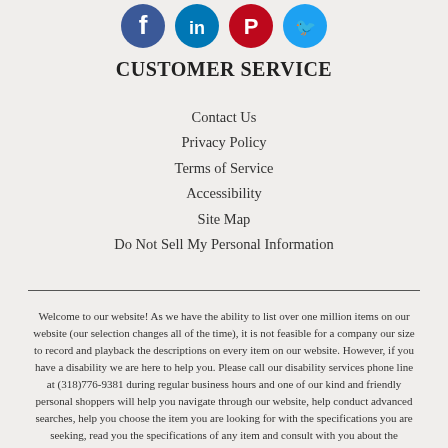[Figure (illustration): Four social media icons: Facebook (blue), LinkedIn (blue), Pinterest (red), Twitter (light blue)]
CUSTOMER SERVICE
Contact Us
Privacy Policy
Terms of Service
Accessibility
Site Map
Do Not Sell My Personal Information
Welcome to our website! As we have the ability to list over one million items on our website (our selection changes all of the time), it is not feasible for a company our size to record and playback the descriptions on every item on our website. However, if you have a disability we are here to help you. Please call our disability services phone line at (318)776-9381 during regular business hours and one of our kind and friendly personal shoppers will help you navigate through our website, help conduct advanced searches, help you choose the item you are looking for with the specifications you are seeking, read you the specifications of any item and consult with you about the products themselves. There is no charge for the help of this personal shopper for anyone with a disability. Finally, your personal shopper will explain our Privacy Policy and Terms of Service, and help you place an order if you so